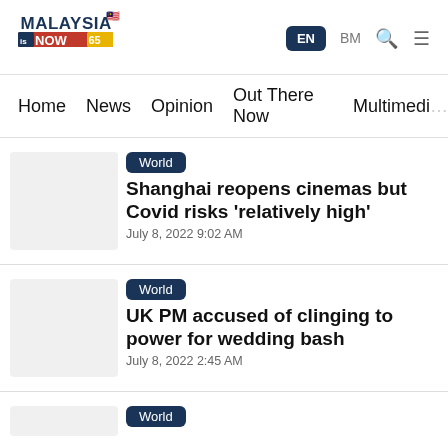[Figure (logo): MalaysiaNow logo with flag emoji and '65' badge]
EN  BM  [search] [menu]
Home  News  Opinion  Out There Now  Multimedia
World
Shanghai reopens cinemas but Covid risks 'relatively high'
July 8, 2022 9:02 AM
World
UK PM accused of clinging to power for wedding bash
July 8, 2022 2:45 AM
World